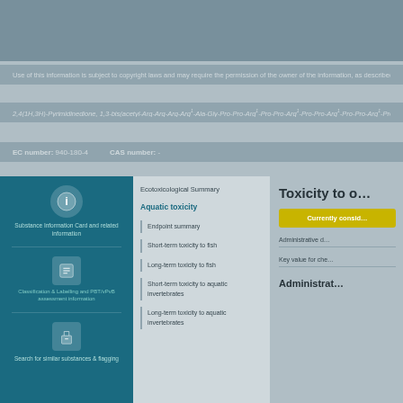Use of this information is subject to copyright laws and may require the permission of the owner of the information, as described in the ECHA Legal Notice.
2,4(1H,3H)-Pyrimidinedione, 1,3-bis(acetyl-Arg-Arg-Arg-Arg1-Ala-Gly-Pro-Pro-Arg1-Pro-Pro-Arg1-Pro-Pro-Arg1-Pro-Pro-Arg1-Pro-Pro-Arg-Pro-Pro-Arg-Pro NR_20175 to 2018
EC number: 940-180-4     CAS number: -
[Figure (infographic): Left teal panel with icons: info icon at top with descriptive text, then chemical structure icon with classification and labelling information, then a flask/beaker icon with search for similar and flagging options]
Ecotoxicological Summary
Aquatic toxicity
Endpoint summary
Short-term toxicity to fish
Long-term toxicity to fish
Short-term toxicity to aquatic invertebrates
Long-term toxicity to aquatic invertebrates
Toxicity to o…
Currently consid…
Administrative d…
Key value for che…
Administrat…